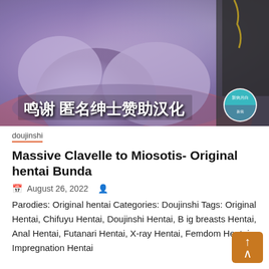[Figure (illustration): Anime/manga style illustration with purple-toned characters, Chinese text overlay reading '鸣谢 匿名绅士赞助汉化' and a circular teal/blue badge with Chinese characters]
doujinshi
Massive Clavelle to Miosotis- Original hentai Bunda
August 26, 2022
Parodies: Original hentai Categories: Doujinshi Tags: Original Hentai, Chifuyu Hentai, Doujinshi Hentai, Big breasts Hentai, Anal Hentai, Futanari Hentai, X-ray Hentai, Femdom Hentai, Impregnation Hentai